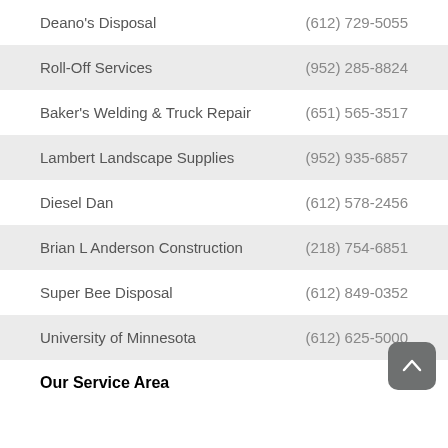Deano's Disposal	(612) 729-5055
Roll-Off Services	(952) 285-8824
Baker's Welding & Truck Repair	(651) 565-3517
Lambert Landscape Supplies	(952) 935-6857
Diesel Dan	(612) 578-2456
Brian L Anderson Construction	(218) 754-6851
Super Bee Disposal	(612) 849-0352
University of Minnesota	(612) 625-5000
Our Service Area